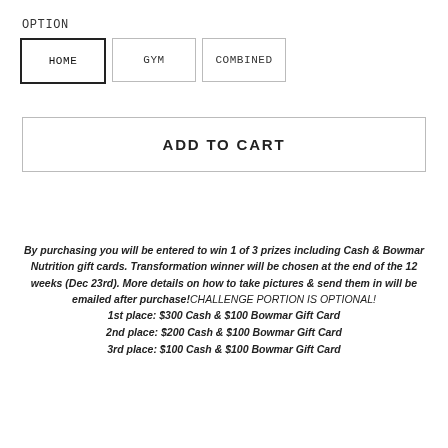OPTION
HOME
GYM
COMBINED
ADD TO CART
By purchasing you will be entered to win 1 of 3 prizes including Cash & Bowmar Nutrition gift cards. Transformation winner will be chosen at the end of the 12 weeks (Dec 23rd). More details on how to take pictures & send them in will be emailed after purchase! CHALLENGE PORTION IS OPTIONAL! 1st place: $300 Cash & $100 Bowmar Gift Card 2nd place: $200 Cash & $100 Bowmar Gift Card 3rd place: $100 Cash & $100 Bowmar Gift Card